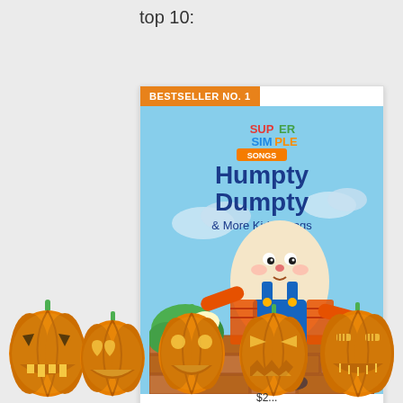top 10:
[Figure (other): Product listing card for 'Humpty Dumpty & More Kids Songs – Super Simple Songs' with BESTSELLER NO. 1 badge and animated book cover showing Humpty Dumpty character]
Humpty Dumpty & More Kids Songs - Super Simpl...
[Figure (illustration): Row of five carved jack-o-lantern pumpkin illustrations across the bottom of the page]